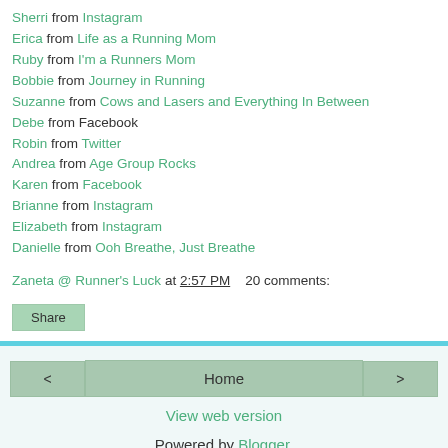Sherri from Instagram
Erica from Life as a Running Mom
Ruby from I'm a Runners Mom
Bobbie from Journey in Running
Suzanne from Cows and Lasers and Everything In Between
Debe from Facebook
Robin from Twitter
Andrea from Age Group Rocks
Karen from Facebook
Brianne from Instagram
Elizabeth from Instagram
Danielle from Ooh Breathe, Just Breathe
Zaneta @ Runner's Luck at 2:57 PM   20 comments:
Share
Home
View web version
Powered by Blogger.